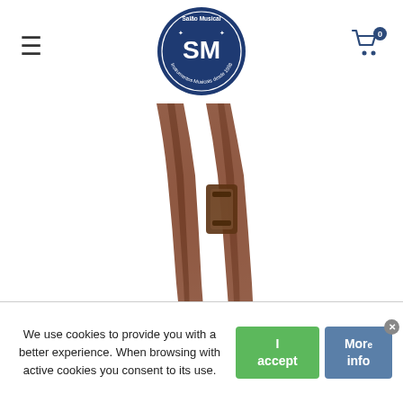Salão Musical — SM logo with hamburger menu and cart icon
[Figure (photo): Close-up photo of a brown leather guitar strap with buckle adjustment hardware on a white background]
We use cookies to provide you with a better experience. When browsing with active cookies you consent to its use.